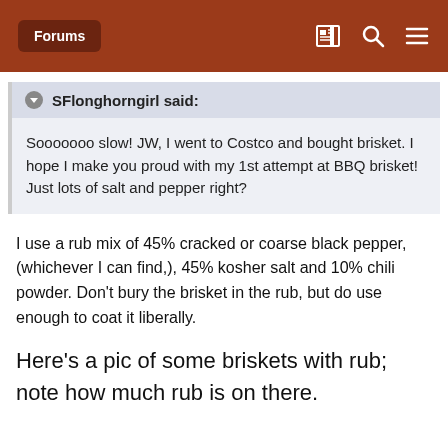Forums
SFlonghorngirl said: Sooooooo slow! JW, I went to Costco and bought brisket. I hope I make you proud with my 1st attempt at BBQ brisket! Just lots of salt and pepper right?
I use a rub mix of 45% cracked or coarse black pepper, (whichever I can find,), 45% kosher salt and 10% chili powder. Don't bury the brisket in the rub, but do use enough to coat it liberally.
Here's a pic of some briskets with rub; note how much rub is on there.